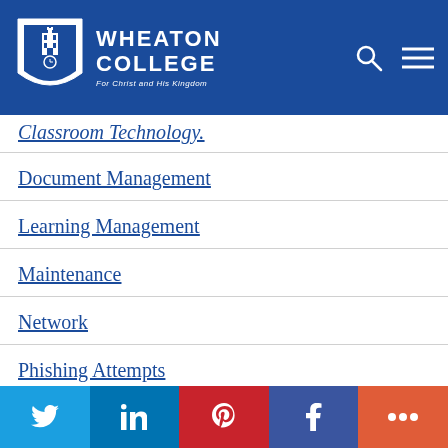Wheaton College
Classroom Technology.
Document Management
Learning Management
Maintenance
Network
Phishing Attempts
Social share bar: Twitter, LinkedIn, Pinterest, Facebook, More